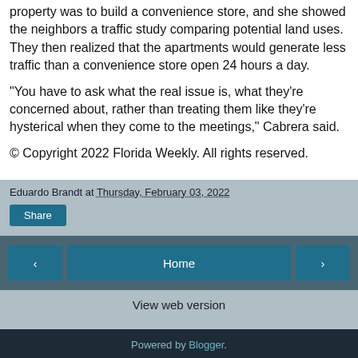property was to build a convenience store, and she showed the neighbors a traffic study comparing potential land uses. They then realized that the apartments would generate less traffic than a convenience store open 24 hours a day.
“You have to ask what the real issue is, what they’re concerned about, rather than treating them like they’re hysterical when they come to the meetings,” Cabrera said.
© Copyright 2022 Florida Weekly. All rights reserved.
Eduardo Brandt at Thursday, February 03, 2022
Share
Home
View web version
Powered by Blogger.